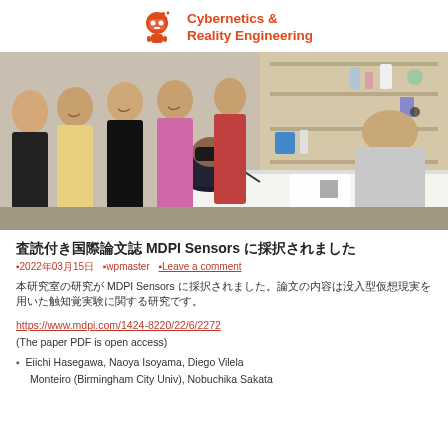Cybernetics & Reality Engineering
[Figure (photo): Group photo of several women at an event, one wearing a VR headset and sitting at a table, others standing around her smiling, shelves with items visible in the background.]
査読付き国際論文誌 MDPI Sensors に採択されました
2022年03月15日　wpmaster　Leave a comment
本研究室の研究が MDPI Sensors に採択されました。論文の内容は没入型仮想現実を用いた触知覚実験に関する研究です。
https://www.mdpi.com/1424-8220/22/6/2272
(The paper PDF is open access)
Eiichi Hasegawa, Naoya Isoyama, Diego Vilela Monteiro (Birmingham City Univ), Nobuchika Sakata